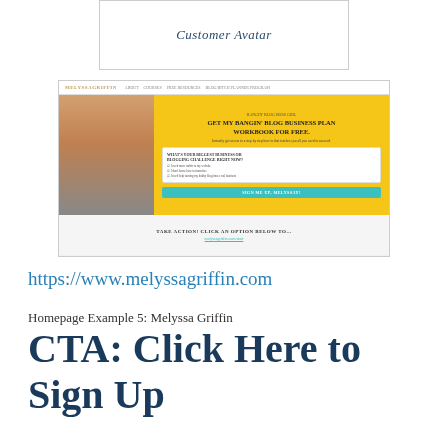[Figure (screenshot): Screenshot of melyssagriffin.com homepage showing a yellow hero section with a woman in a blazer, headline about blog business plan workbook, and a CTA button. Navigation bar at top.]
https://www.melyssagriffin.com
Homepage Example 5: Melyssa Griffin
CTA: Click Here to Sign Up